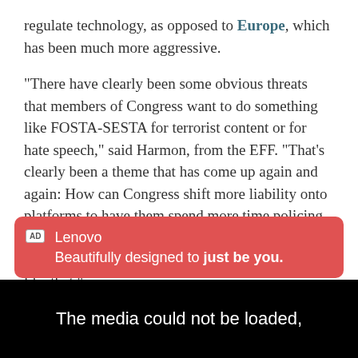regulate technology, as opposed to Europe, which has been much more aggressive.
“There have clearly been some obvious threats that members of Congress want to do something like FOSTA-SESTA for terrorist content or for hate speech,” said Harmon, from the EFF. “That’s clearly been a theme that has come up again and again: How can Congress shift more liability onto platforms to have them spend more time policing their users’ speech? That is definitely a concern, and I wouldn’t be surprised if you start seeing bills like that.”
[Figure (other): Advertisement banner for Lenovo with red background. AD badge on left. Text reads: 'Lenovo' on first line, 'Beautifully designed to just be you.' on second line.]
[Figure (other): Black video player area showing error message: 'The media could not be loaded,']